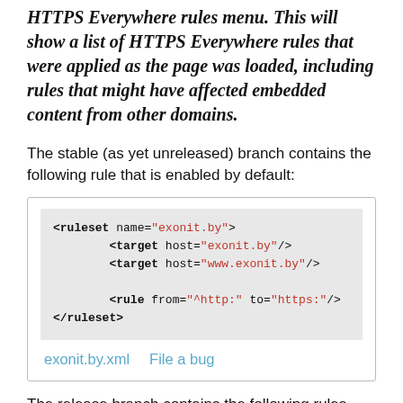HTTPS Everywhere rules menu. This will show a list of HTTPS Everywhere rules that were applied as the page was loaded, including rules that might have affected embedded content from other domains.
The stable (as yet unreleased) branch contains the following rule that is enabled by default:
<ruleset name="exonit.by">
        <target host="exonit.by"/>
        <target host="www.exonit.by"/>

        <rule from="^http:" to="https:"/>
</ruleset>
exonit.by.xml   File a bug
The release branch contains the following rules that are enabled by default: